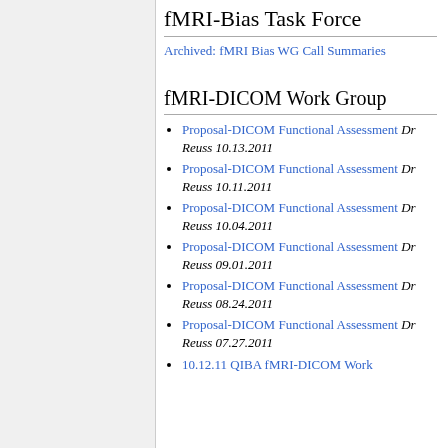fMRI-Bias Task Force
Archived: fMRI Bias WG Call Summaries
fMRI-DICOM Work Group
Proposal-DICOM Functional Assessment Dr Reuss 10.13.2011
Proposal-DICOM Functional Assessment Dr Reuss 10.11.2011
Proposal-DICOM Functional Assessment Dr Reuss 10.04.2011
Proposal-DICOM Functional Assessment Dr Reuss 09.01.2011
Proposal-DICOM Functional Assessment Dr Reuss 08.24.2011
Proposal-DICOM Functional Assessment Dr Reuss 07.27.2011
10.12.11 QIBA fMRI-DICOM Work